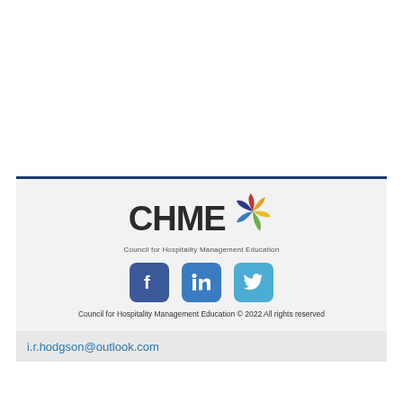[Figure (logo): CHME - Council for Hospitality Management Education logo with colorful pinwheel graphic]
[Figure (infographic): Social media icons: Facebook, LinkedIn, Twitter]
Council for Hospitality Management Education © 2022 All rights reserved
i.r.hodgson@outlook.com